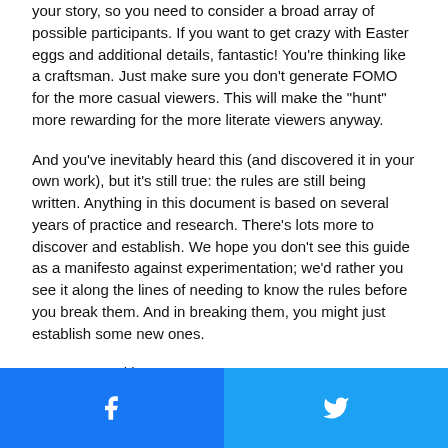your story, so you need to consider a broad array of possible participants. If you want to get crazy with Easter eggs and additional details, fantastic! You're thinking like a craftsman. Just make sure you don't generate FOMO for the more casual viewers. This will make the “hunt” more rewarding for the more literate viewers anyway.
And you've inevitably heard this (and discovered it in your own work), but it's still true: the rules are still being written. Anything in this document is based on several years of practice and research. There's lots more to discover and establish. We hope you don't see this guide as a manifesto against experimentation; we'd rather you see it along the lines of needing to know the rules before you break them. And in breaking them, you might just establish some new ones.
Now get to writing!
[Figure (other): Social share footer bar with Facebook (blue) and Twitter (light blue) buttons side by side]